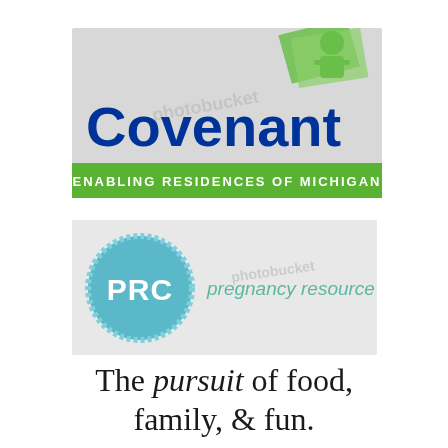[Figure (logo): Covenant Enabling Residences of Michigan logo. Gray rectangle background with large bold dark blue text 'Covenant', a green cartoon figure icon at top, and a green banner at bottom reading 'ENABLING RESIDENCES OF MICHIGAN' in white caps. A photobucket watermark is overlaid.]
[Figure (logo): PRC Pregnancy Resource Center logo. Light gray rectangle background with a teal/blue pixelated circle containing 'PRC' text in white, followed by 'pregnancy resource center' in teal text. A photobucket watermark is overlaid.]
The pursuit of food, family, & fun.